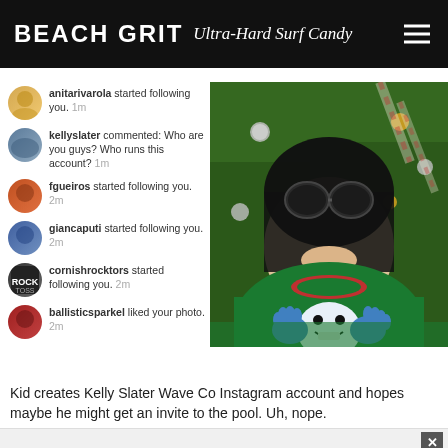BEACH GRIT Ultra-Hard Surf Candy
[Figure (screenshot): Instagram notifications panel showing users: anitarivarola started following you 1m, kellyslater commented: Who are you guys? Who runs this account? 1m, fgueiros started following you 2m, giancaputi started following you 2m, cornishrocktors started following you 2m, ballisticsparkel liked your photo 2m]
[Figure (photo): Child wearing black ski mask with oversized goggle lenses and a green Christmas sweater with a Yeti/monster graphic, standing in front of a Christmas tree with ornaments and candy cane decorations]
Kid creates Kelly Slater Wave Co Instagram account and hopes maybe he might get an invite to the pool. Uh, nope.
[Figure (screenshot): Advertisement bar with close X button]
BLOOD LIBEL: SLATER WAVE CO...